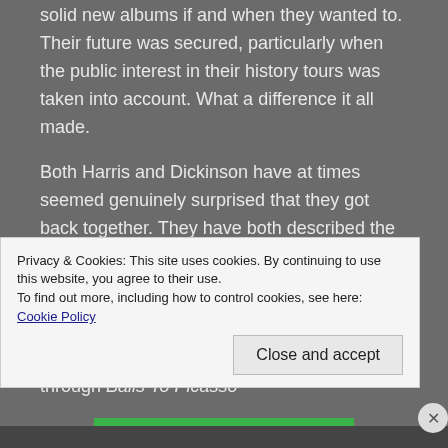solid new albums if and when they wanted to. Their future was secured, particularly when the public interest in their history tours was taken into account. What a difference it all made.
Both Harris and Dickinson have at times seemed genuinely surprised that they got back together. They have both described the other as a changed man. And they are both probably right.
Dickinson left the safe harbor of Maiden to take risks and explore his art, struggling through Balls To Picasso
Privacy & Cookies: This site uses cookies. By continuing to use this website, you agree to their use.
To find out more, including how to control cookies, see here: Cookie Policy
Close and accept